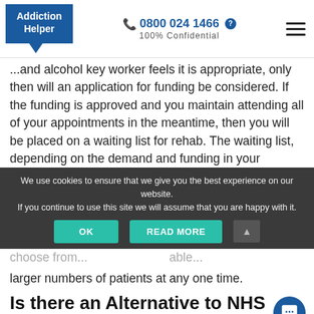Addiction Helper | ☎ 0800 024 1466 | 100% Confidential
...and alcohol key worker feels it is appropriate, only then will an application for funding be considered. If the funding is approved and you maintain attending all of your appointments in the meantime, then you will be placed on a waiting list for rehab. The waiting list, depending on the demand and funding in your
We use cookies to ensure that we give you the best experience on our website. If you continue to use this site we will assume that you are happy with it.
choose from... [partially visible] ...able... ...larger numbers of patients at any one time.
Is there an Alternative to NHS Treatment that is Free?